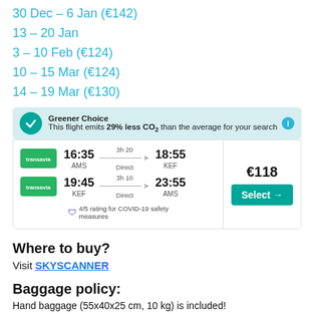30 Dec – 6 Jan (€142)
13 – 20 Jan
3 – 10 Feb (€124)
10 – 15 Mar (€124)
14 – 19 Mar (€130)
[Figure (screenshot): Greener Choice banner: This flight emits 29% less CO2 than the average for your search. Flight card showing Transavia flight AMS 16:35 to KEF 18:55 (3h20, Direct) and return KEF 19:45 to AMS 23:55 (3h10, Direct). Price €118 with Select button. 4/5 rating for COVID-19 safety measures.]
Where to buy?
Visit SKYSCANNER
Baggage policy:
Hand baggage (55x40x25 cm, 10 kg) is included!